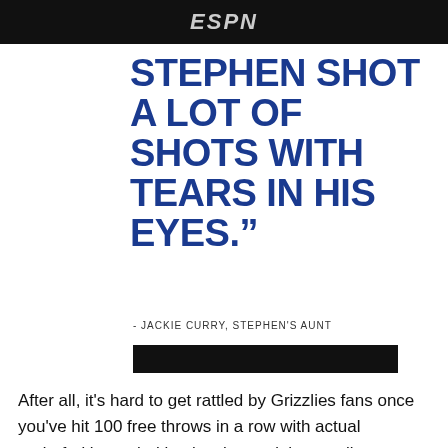ESPN
STEPHEN SHOT A LOT OF SHOTS WITH TEARS IN HIS EYES."
- JACKIE CURRY, STEPHEN'S AUNT
[Figure (other): Black redacted bar]
After all, it's hard to get rattled by Grizzlies fans once you've hit 100 free throws in a row with actual underfed bears lurking just beyond the tree line.